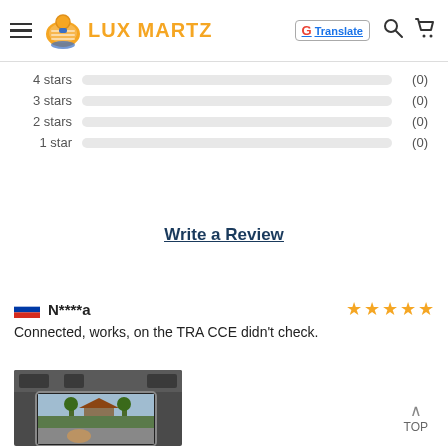LUX MARTZ
| Rating | Bar | Count |
| --- | --- | --- |
| 4 stars |  | (0) |
| 3 stars |  | (0) |
| 2 stars |  | (0) |
| 1 star |  | (0) |
Write a Review
N****a
Connected, works, on the TRA CCE didn't check.
[Figure (photo): Car dashboard with an Android tablet/screen mounted showing a house exterior navigation or media view]